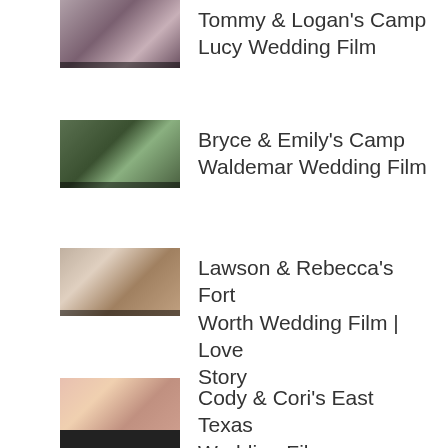Tommy & Logan's Camp Lucy Wedding Film
Bryce & Emily's Camp Waldemar Wedding Film
Lawson & Rebecca's Fort Worth Wedding Film | Love Story
Cody & Cori's East Texas Wedding Film